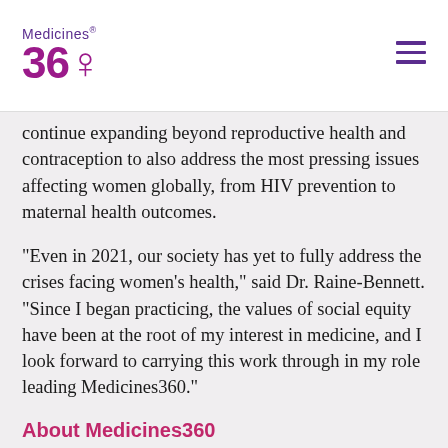Medicines 360
continue expanding beyond reproductive health and contraception to also address the most pressing issues affecting women globally, from HIV prevention to maternal health outcomes.
“Even in 2021, our society has yet to fully address the crises facing women’s health,” said Dr. Raine-Bennett. “Since I began practicing, the values of social equity have been at the root of my interest in medicine, and I look forward to carrying this work through in my role leading Medicines360.”
About Medicines360
Medicines360, located in San Francisco, California, is a nonprofit global women’s health pharmaceutical organization with a mission to remove cost as a barrier to health by developing and providing